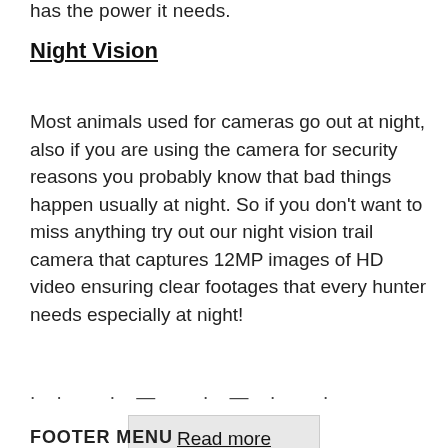has the power it needs.
Night Vision
Most animals used for cameras go out at night, also if you are using the camera for security reasons you probably know that bad things happen usually at night. So if you don’t want to miss anything try out our night vision trail camera that captures 12MP images of HD video ensuring clear footages that every hunter needs especially at night!
...
Read more
FOOTER MENU